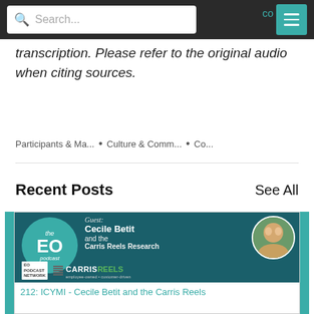Search...
transcription. Please refer to the original audio when citing sources.
Participants & Ma... • Culture & Comm... • Co...
Recent Posts
See All
[Figure (illustration): EO Podcast card featuring guest Cecile Betit and the Carris Reels Research, with EO podcast logo circle, guest name, Carris Reels logo, and photo of the guest.]
212: ICYMI - Cecile Betit and the Carris Reels